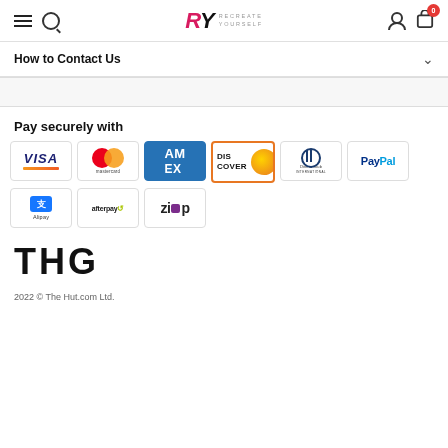RY RECREATE YOURSELF — navigation header with hamburger menu, search, logo, user icon, cart (0)
How to Contact Us
Pay securely with
[Figure (logo): Payment method logos: Visa, Mastercard, American Express, Discover, Diners Club International, PayPal, Alipay, Afterpay, Zip]
[Figure (logo): THG logo]
2022 © The Hut.com Ltd.